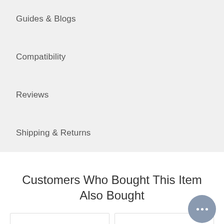Guides & Blogs
Compatibility
Reviews
Shipping & Returns
Customers Who Bought This Item Also Bought
[Figure (other): Two product card placeholders side by side]
[Figure (other): Chat support bubble with three dots, positioned bottom right]